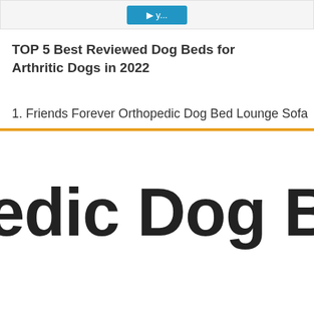[Figure (screenshot): Top navigation bar with a blue button partially visible]
TOP 5 Best Reviewed Dog Beds for Arthritic Dogs in 2022
1. Friends Forever Orthopedic Dog Bed Lounge Sofa
edic Dog Bed Me